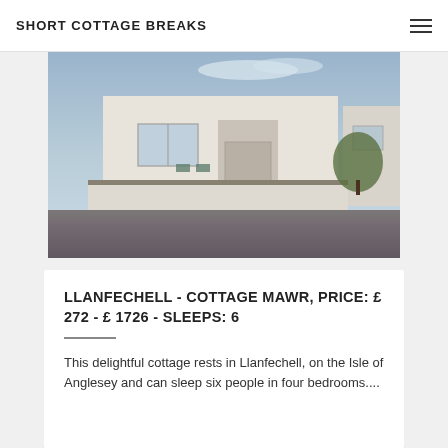SHORT COTTAGE BREAKS
[Figure (photo): Exterior photo of a white rendered cottage with arched doorway, sliding windows, a low white wall, decorative stonework trim, gravel driveway, and steps. Clear blue sky in background.]
LLANFECHELL - COTTAGE MAWR, PRICE: £ 272 - £ 1726 - SLEEPS: 6
This delightful cottage rests in Llanfechell, on the Isle of Anglesey and can sleep six people in four bedrooms....